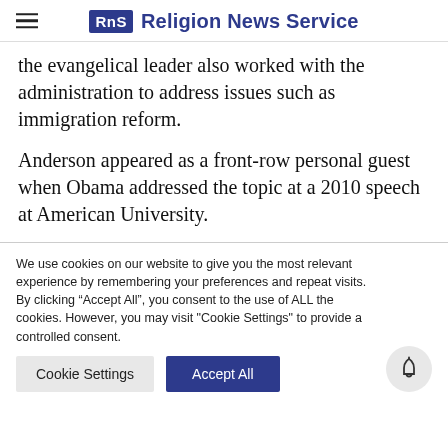Religion News Service
the evangelical leader also worked with the administration to address issues such as immigration reform.
Anderson appeared as a front-row personal guest when Obama addressed the topic at a 2010 speech at American University.
We use cookies on our website to give you the most relevant experience by remembering your preferences and repeat visits. By clicking “Accept All”, you consent to the use of ALL the cookies. However, you may visit "Cookie Settings" to provide a controlled consent.